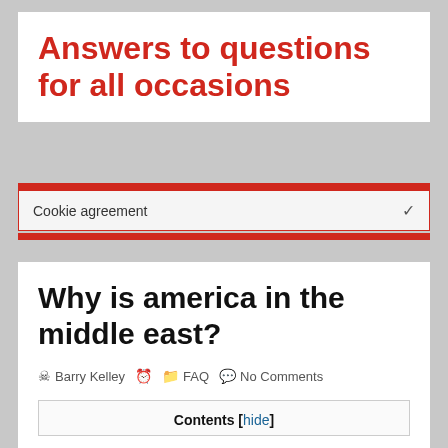Answers to questions for all occasions
Cookie agreement
Why is america in the middle east?
Barry Kelley  FAQ  No Comments
Contents [hide]